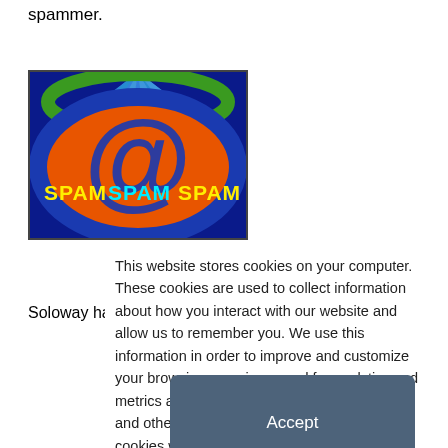spammer.
[Figure (illustration): Colorful graphic showing a large blue @ symbol on an orange background with blue oval frame and blue ray burst background. Yellow and cyan text reads 'SPAM SPAM SPAM'.]
Soloway has reportedly been using an army of zombie
This website stores cookies on your computer. These cookies are used to collect information about how you interact with our website and allow us to remember you. We use this information in order to improve and customize your browsing experience and for analytics and metrics about our visitors both on this website and other media. To find out more about the cookies we use, see our Privacy Policy. California residents have the right to direct us not to sell their personal information to third parties by filing an Opt-Out Request: Do Not Sell My Personal Info.
Accept